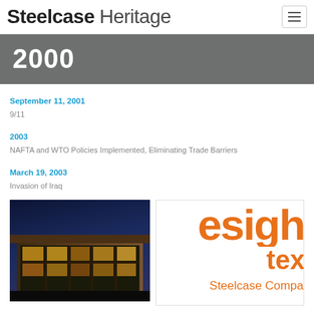Steelcase Heritage
2000
September 11, 2001
9/11
2003
NAFTA and WTO Policies Implemented, Eliminating Trade Barriers
March 19, 2003
Invasion of Iraq
[Figure (photo): Night photograph of a modern glass and steel building with warm interior lights visible through large window panels]
[Figure (logo): Design text in orange large letters partially cropped showing 'DesignTex Steelcase Company' branding]